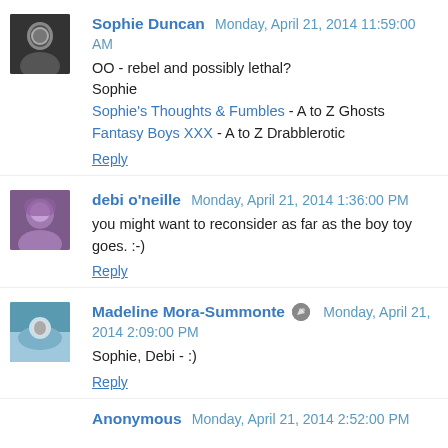Sophie Duncan  Monday, April 21, 2014 11:59:00 AM
OO - rebel and possibly lethal?
Sophie
Sophie's Thoughts & Fumbles - A to Z Ghosts
Fantasy Boys XXX - A to Z Drabblerotic
Reply
debi o'neille  Monday, April 21, 2014 1:36:00 PM
you might want to reconsider as far as the boy toy goes. :-)
Reply
Madeline Mora-Summonte  Monday, April 21, 2014 2:09:00 PM
Sophie, Debi - :)
Reply
Anonymous  Monday, April 21, 2014 2:52:00 PM